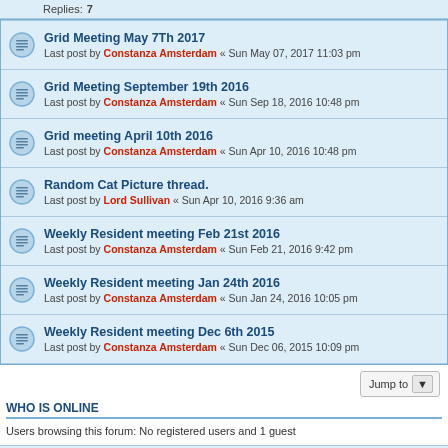Replies: 7
Grid Meeting May 7Th 2017 — Last post by Constanza Amsterdam « Sun May 07, 2017 11:03 pm
Grid Meeting September 19th 2016 — Last post by Constanza Amsterdam « Sun Sep 18, 2016 10:48 pm
Grid meeting April 10th 2016 — Last post by Constanza Amsterdam « Sun Apr 10, 2016 10:48 pm
Random Cat Picture thread. — Last post by Lord Sullivan « Sun Apr 10, 2016 9:36 am
Weekly Resident meeting Feb 21st 2016 — Last post by Constanza Amsterdam « Sun Feb 21, 2016 9:42 pm
Weekly Resident meeting Jan 24th 2016 — Last post by Constanza Amsterdam « Sun Jan 24, 2016 10:05 pm
Weekly Resident meeting Dec 6th 2015 — Last post by Constanza Amsterdam « Sun Dec 06, 2015 10:09 pm
WHO IS ONLINE
Users browsing this forum: No registered users and 1 guest
Home · Board index · Contact us · The team